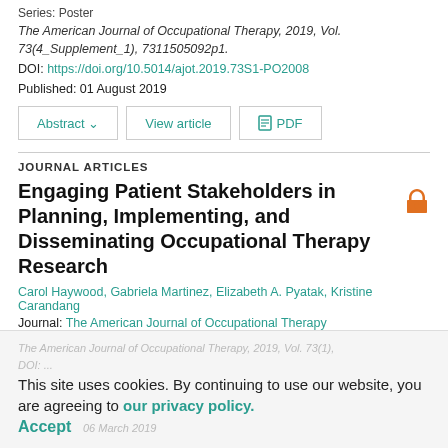Series: Poster
The American Journal of Occupational Therapy, 2019, Vol. 73(4_Supplement_1), 7311505092p1.
DOI: https://doi.org/10.5014/ajot.2019.73S1-PO2008
Published: 01 August 2019
Abstract  View article  PDF
JOURNAL ARTICLES
Engaging Patient Stakeholders in Planning, Implementing, and Disseminating Occupational Therapy Research
Carol Haywood, Gabriela Martinez, Elizabeth A. Pyatak, Kristine Carandang
Journal: The American Journal of Occupational Therapy
This site uses cookies. By continuing to use our website, you are agreeing to our privacy policy. Accept